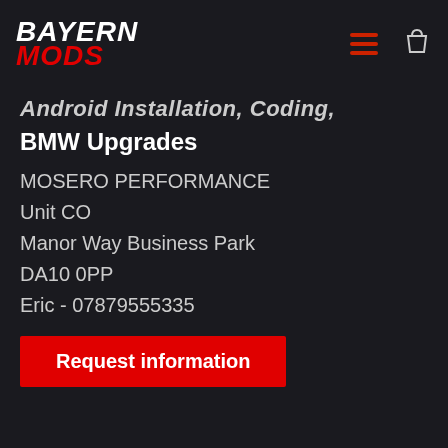BAYERN MODS
Android Installation, Coding,
BMW Upgrades
MOSERO PERFORMANCE
Unit CO
Manor Way Business Park
DA10 0PP
Eric - 07879555335
Request information